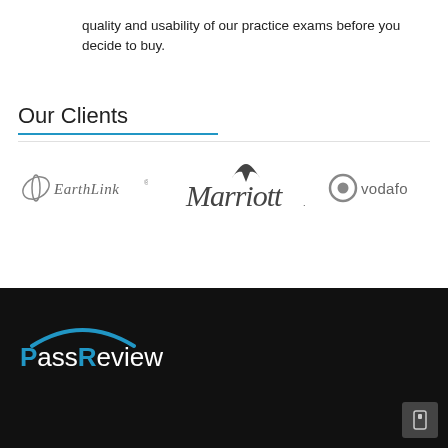quality and usability of our practice exams before you decide to buy.
Our Clients
[Figure (logo): EarthLink logo (italic E with leaf, text EarthLink)]
[Figure (logo): Marriott logo with stylized M and text Marriott]
[Figure (logo): Vodafone logo with circle and text vodafo (partially visible)]
[Figure (logo): PassReview logo with blue arc above text PassReview, blue P and R letters, on dark background]